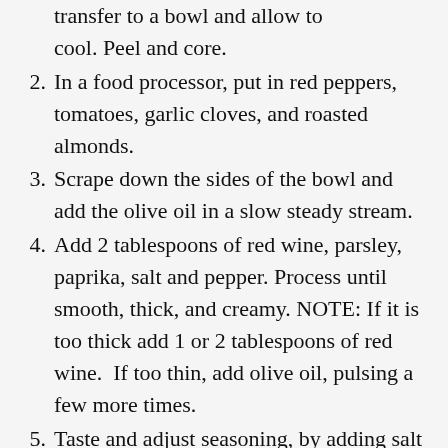transfer to a bowl and allow to cool. Peel and core.
2. In a food processor, put in red peppers, tomatoes, garlic cloves, and roasted almonds.
3. Scrape down the sides of the bowl and add the olive oil in a slow steady stream.
4. Add 2 tablespoons of red wine, parsley, paprika, salt and pepper. Process until smooth, thick, and creamy. NOTE: If it is too thick add 1 or 2 tablespoons of red wine.  If too thin, add olive oil, pulsing a few more times.
5. Taste and adjust seasoning, by adding salt or red pepper flakes as desired. Let the sauce stand for an hour at room temperature before using.
6. Meanwhile, generously season